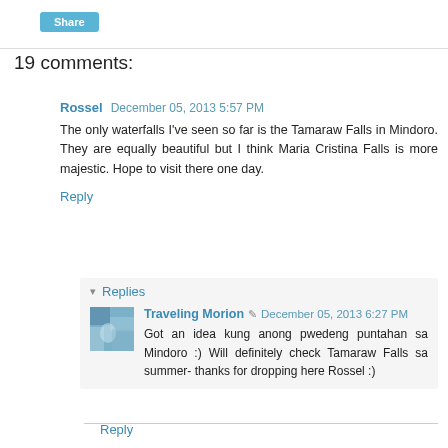Share
19 comments:
Rossel  December 05, 2013 5:57 PM
The only waterfalls I've seen so far is the Tamaraw Falls in Mindoro. They are equally beautiful but I think Maria Cristina Falls is more majestic. Hope to visit there one day.
Reply
▾ Replies
Traveling Morion  December 05, 2013 6:27 PM
Got an idea kung anong pwedeng puntahan sa Mindoro :) Will definitely check Tamaraw Falls sa summer- thanks for dropping here Rossel :)
Reply